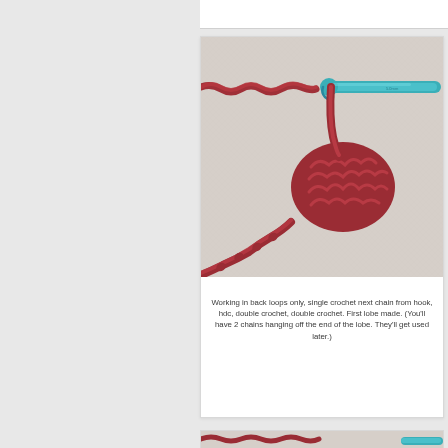[Figure (photo): Photo of dark red crochet work in progress showing a lobe shape made of yarn, with a teal/turquoise crochet hook inserted into the stitches, laid on a light gray fabric background.]
Working in back loops only, single crochet next chain from hook, hdc, double crochet, double crochet. First lobe made. (You'll have 2 chains hanging off the end of the lobe. They'll get used later.)
[Figure (photo): Partial photo at bottom showing the beginning of another crochet step with red yarn and teal hook on light gray fabric.]